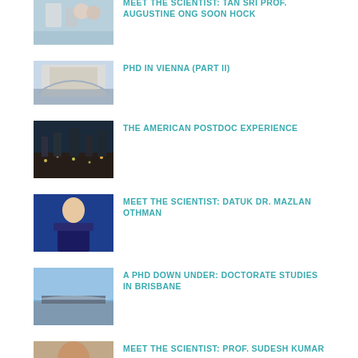[Figure (photo): Scientists in lab with equipment]
MEET THE SCIENTIST: TAN SRI PROF. AUGUSTINE ONG SOON HOCK
[Figure (photo): Grand building exterior with gardens]
PHD IN VIENNA (PART II)
[Figure (photo): Aerial city night view]
THE AMERICAN POSTDOC EXPERIENCE
[Figure (photo): Woman speaking at podium with blue background]
MEET THE SCIENTIST: DATUK DR. MAZLAN OTHMAN
[Figure (photo): Outdoor landscape with sky]
A PHD DOWN UNDER: DOCTORATE STUDIES IN BRISBANE
[Figure (photo): Portrait of a man]
MEET THE SCIENTIST: PROF. SUDESH KUMAR